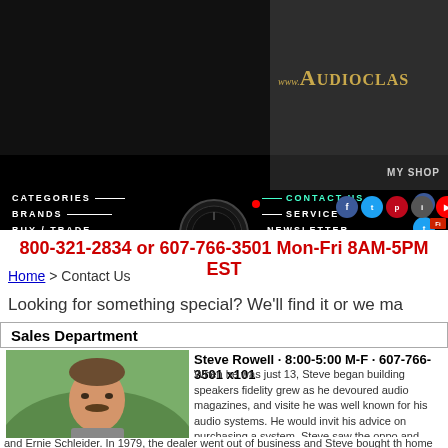[Figure (screenshot): AudioClassics website navigation header with black background, logo area showing www.AudioClas... text in gold, navigation menu items: CATEGORIES, BRANDS, BUY/TRADE, ORDERING on left; CONTACT US (green), SERVICE, -NEWSLETTER, FIND US on right; social media icons (Facebook, Twitter, Pinterest, Instagram, YouTube); a knob/dial graphic in center; MY SHOP and Find button visible on right side; red dot accent]
800-321-2834 or 607-766-3501 Mon-Fri 8AM-5PM EST
Home > Contact Us
Looking for something special? We'll find it or we ma
Sales Department
Steve Rowell · 8:00-5:00 M-F · 607-766-3501 x101
[Figure (photo): Photo of Steve Rowell, a middle-aged man with a mustache wearing a grey t-shirt, photographed outdoors with green foliage behind him]
When he was just 13, Steve began building speakers fidelity grew as he devoured audio magazines, and visite he was well known for his audio systems. He would invit his advice on purchasing a system. Steve saw the oppo and began buying and selling used equipment. Best of a communications, and a minor in music theory from Ashl worked producing radio shows at a recording studio in B McIntosh dealer and had one of their systems in every ro and Ernie Schleider. In 1979, the dealer went out of business and Steve bought th home with the components. Steve made stops to visit local audio enthusiasts th